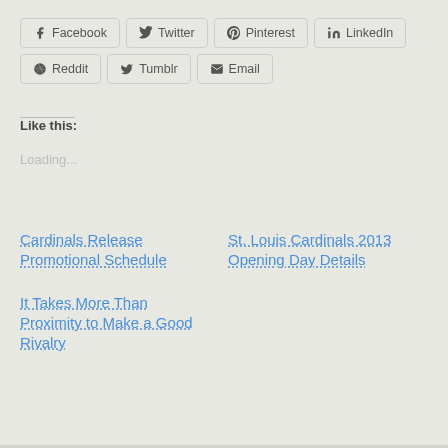Facebook
Twitter
Pinterest
LinkedIn
Reddit
Tumblr
Email
Like this:
Loading...
Cardinals Release Promotional Schedule
St. Louis Cardinals 2013 Opening Day Details
It Takes More Than Proximity to Make a Good Rivalry